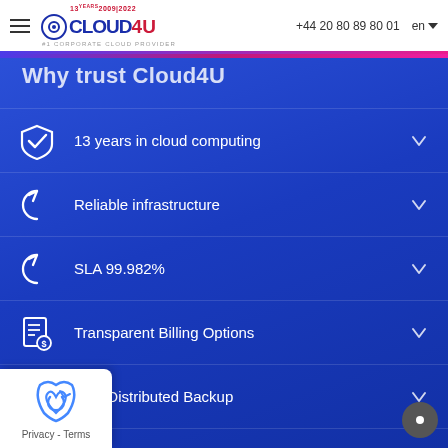Cloud4U — +44 20 80 89 80 01 — en
Why trust Cloud4U
13 years in cloud computing
Reliable infrastructure
SLA 99.982%
Transparent Billing Options
Geo-Distributed Backup
Flexible scalability